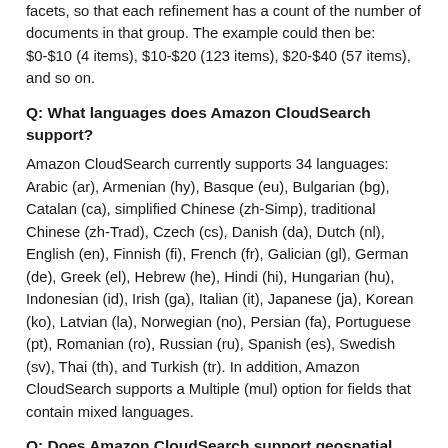facets, so that each refinement has a count of the number of documents in that group. The example could then be: $0-$10 (4 items), $10-$20 (123 items), $20-$40 (57 items), and so on.
Q: What languages does Amazon CloudSearch support?
Amazon CloudSearch currently supports 34 languages: Arabic (ar), Armenian (hy), Basque (eu), Bulgarian (bg), Catalan (ca), simplified Chinese (zh-Simp), traditional Chinese (zh-Trad), Czech (cs), Danish (da), Dutch (nl), English (en), Finnish (fi), French (fr), Galician (gl), German (de), Greek (el), Hebrew (he), Hindi (hi), Hungarian (hu), Indonesian (id), Irish (ga), Italian (it), Japanese (ja), Korean (ko), Latvian (la), Norwegian (no), Persian (fa), Portuguese (pt), Romanian (ro), Russian (ru), Spanish (es), Swedish (sv), Thai (th), and Turkish (tr). In addition, Amazon CloudSearch supports a Multiple (mul) option for fields that contain mixed languages.
Q: Does Amazon CloudSearch support geospatial search?
Yes, Amazon CloudSearch has a native type to support latitude and longitude (latlon), so that you can easily implement geographically-based searching and sorting. For more information, see Searching